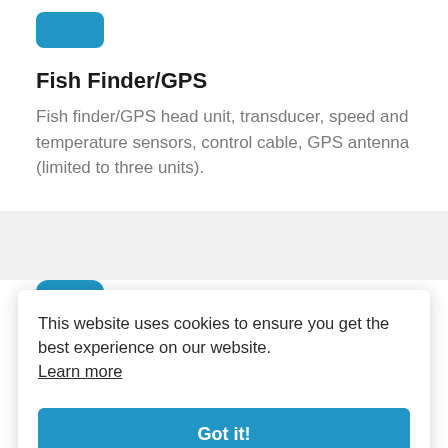[Figure (other): Blue rounded rectangle icon at top]
Fish Finder/GPS
Fish finder/GPS head unit, transducer, speed and temperature sensors, control cable, GPS antenna (limited to three units).
[Figure (other): Blue rounded square icon with checkmark]
This website uses cookies to ensure you get the best experience on our website. Learn more
Got it!
ans, ay or